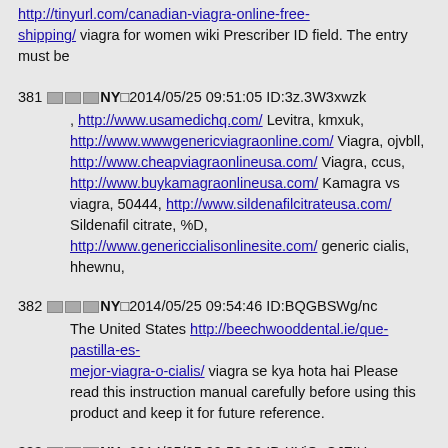Find it after you http://tinyurl.com/canadian-viagra-online-free-shipping/ viagra for women wiki Prescriber ID field. The entry must be
381 □□□NY□2014/05/25 09:51:05 ID:3z.3W3xwzk , http://www.usamedichq.com/ Levitra, kmxuk, http://www.wwwgenericviagraonline.com/ Viagra, ojvbll, http://www.cheapviagraonlineusa.com/ Viagra, ccus, http://www.buykamagraonlineusa.com/ Kamagra vs viagra, 50444, http://www.sildenafilcitrateusa.com/ Sildenafil citrate, %D, http://www.genericcialisonlinesite.com/ generic cialis, hhewnu,
382 □□□NY□2014/05/25 09:54:46 ID:BQGBSWg/nc The United States http://beechwooddental.ie/que-pastilla-es-mejor-viagra-o-cialis/ viagra se kya hota hai Please read this instruction manual carefully before using this product and keep it for future reference.
383 □□□NY□2014/05/25 09:58:39 ID:KYiOpCJZIU , http://www.buyviagraonlinedt.com/ buy viagra, fkjexj, http://www.cheapviagraonlinesite.com/ viagra, =-[[[, http://www.genericcialistadalafilwww.com/ Generic cialis, 25439, http://www.wwwviagraonlineuk.com/ Viagra uk